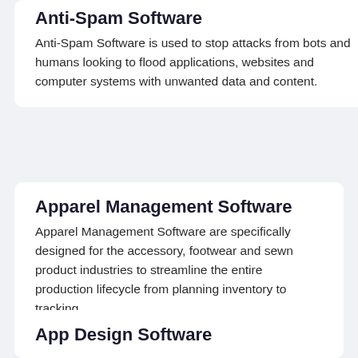Anti-Spam Software
Anti-Spam Software is used to stop attacks from bots and humans looking to flood applications, websites and computer systems with unwanted data and content.
Apparel Management Software
Apparel Management Software are specifically designed for the accessory, footwear and sewn product industries to streamline the entire production lifecycle from planning inventory to tracking …
App Design Software